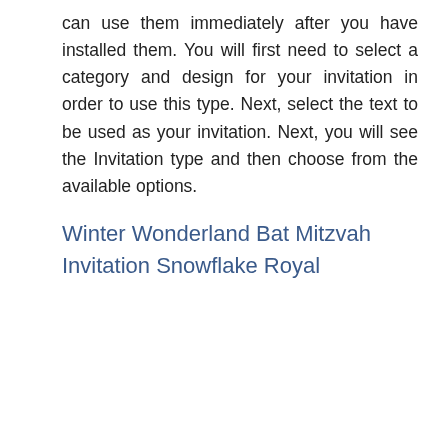can use them immediately after you have installed them. You will first need to select a category and design for your invitation in order to use this type. Next, select the text to be used as your invitation. Next, you will see the Invitation type and then choose from the available options.
Winter Wonderland Bat Mitzvah Invitation Snowflake Royal